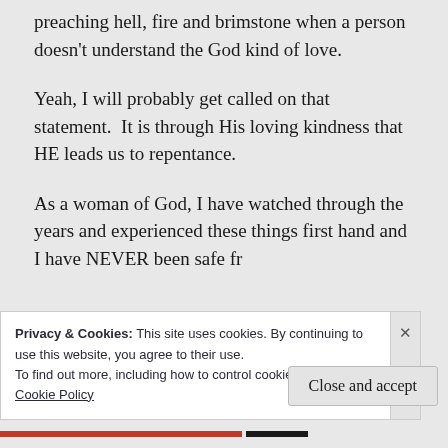preaching hell, fire and brimstone when a person doesn't understand the God kind of love.
Yeah, I will probably get called on that statement.  It is through His loving kindness that HE leads us to repentance.
As a woman of God, I have watched through the years and experienced these things first hand and I have NEVER been safe from...
Privacy & Cookies: This site uses cookies. By continuing to use this website, you agree to their use.
To find out more, including how to control cookies, see here:
Cookie Policy
Close and accept